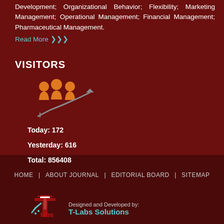Development; Organizational Behavior; Flexibility; Marketing Management; Operational Management; Financial Management; Pharmaceutical Management.
Read More >>>
VISITORS
[Figure (infographic): Visitors icon showing three orange human figures with a grey upward trending arrow beneath them]
Today: 172
Yesterday: 616
Total: 856408
HOME  |  ABOUT JOURNAL  |  EDITORIAL BOARD  |  SITEMAP
[Figure (logo): T-Labs Solutions logo with a red stylized T shape and wifi/signal arcs, red and white coloring]
Designed and Developed by: T-Labs Solutions